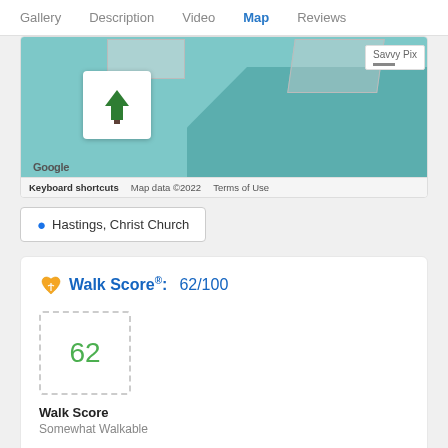Gallery   Description   Video   Map   Reviews
[Figure (map): Google Map showing location near Hastings, Christ Church with a tree pin marker, teal water/land areas, and overlaid building outlines. Footer shows 'Keyboard shortcuts', 'Map data ©2022', 'Terms of Use'. Savvy Pix label visible top right.]
Hastings, Christ Church
Walk Score®: 62/100
[Figure (infographic): Walk Score widget showing score of 62 in a dashed box]
Walk Score
Somewhat Walkable
More Details Here